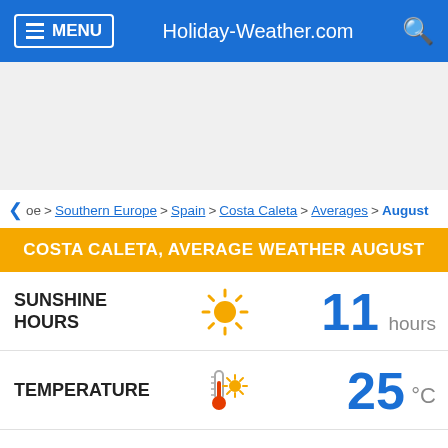MENU  Holiday-Weather.com
[Figure (screenshot): Gray advertisement area]
< oe > Southern Europe > Spain > Costa Caleta > Averages > August
COSTA CALETA, AVERAGE WEATHER AUGUST
SUNSHINE HOURS  11 hours
TEMPERATURE  25 °C
HIGH TEMPERATURE  28 °C